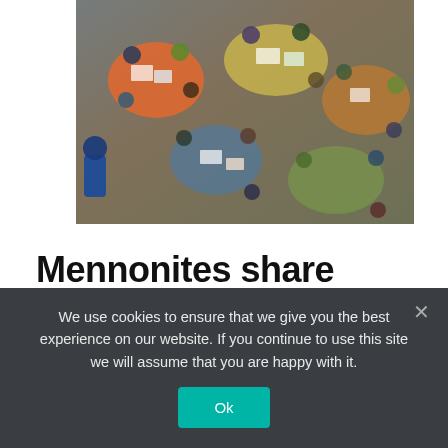[Figure (photo): Overhead/bird's-eye view of a conference room with people seated at round tables, papers and materials spread across tables, colorful tablecloths, event setting.]
Mennonites share audacious dreams on second day of Future Church Summit
ORLANDO, Florida (Mennonite Church USA) — Filled with conversation, music,
We use cookies to ensure that we give you the best experience on our website. If you continue to use this site we will assume that you are happy with it.